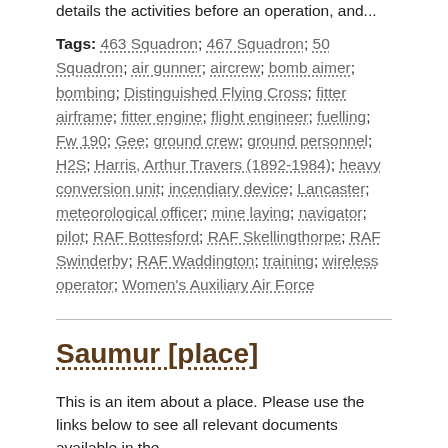details the activities before an operation, and...
Tags: 463 Squadron; 467 Squadron; 50 Squadron; air gunner; aircrew; bomb aimer; bombing; Distinguished Flying Cross; fitter airframe; fitter engine; flight engineer; fuelling; Fw 190; Gee; ground crew; ground personnel; H2S; Harris, Arthur Travers (1892-1984); heavy conversion unit; incendiary device; Lancaster; meteorological officer; mine laying; navigator; pilot; RAF Bottesford; RAF Skellingthorpe; RAF Swinderby; RAF Waddington; training; wireless operator; Women's Auxiliary Air Force
Saumur [place]
This is an item about a place. Please use the links below to see all relevant documents available in the